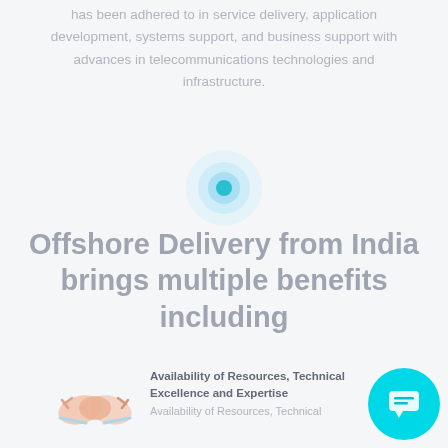has been adhered to in service delivery, application development, systems support, and business support with advances in telecommunications technologies and infrastructure.
[Figure (illustration): Abstract map/location pin icon with concentric light blue circles and a solid teal dot in the center, suggesting a geographic location marker.]
Offshore Delivery from India brings multiple benefits including
[Figure (illustration): A light peach/salmon colored handshake icon representing partnership or collaboration.]
Availability of Resources, Technical Excellence and Expertise
Availability of Resources, Technical
[Figure (illustration): Cyan/turquoise circular chat bubble icon with a comment/message symbol inside, positioned at bottom right.]